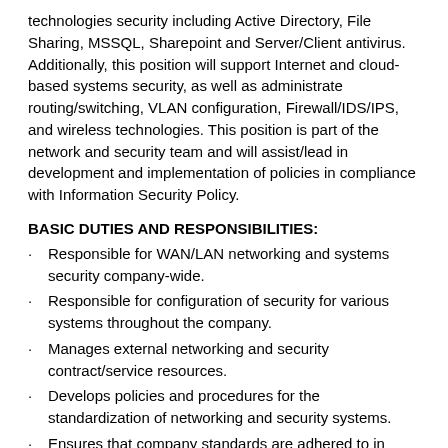technologies security including Active Directory, File Sharing, MSSQL, Sharepoint and Server/Client antivirus. Additionally, this position will support Internet and cloud-based systems security, as well as administrate routing/switching, VLAN configuration, Firewall/IDS/IPS, and wireless technologies. This position is part of the network and security team and will assist/lead in development and implementation of policies in compliance with Information Security Policy.
BASIC DUTIES AND RESPONSIBILITIES:
Responsible for WAN/LAN networking and systems security company-wide.
Responsible for configuration of security for various systems throughout the company.
Manages external networking and security contract/service resources.
Develops policies and procedures for the standardization of networking and security systems.
Ensures that company standards are adhered to in configuration and documentation of systems.